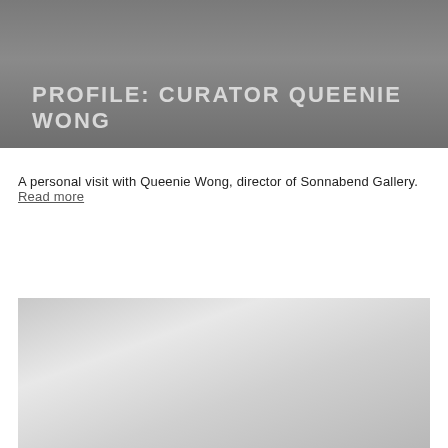PROFILE: CURATOR QUEENIE WONG
A personal visit with Queenie Wong, director of Sonnabend Gallery.  Read more
[Figure (photo): A faded/greyed out photograph placeholder at the bottom of the page]